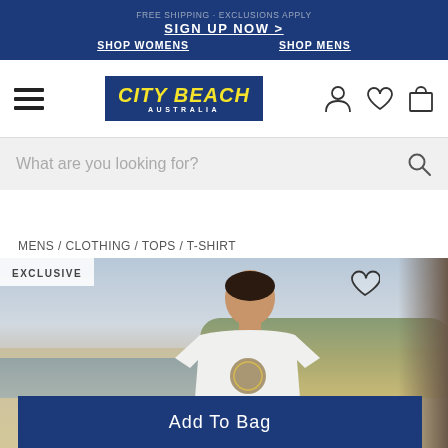FREE SHIPPING · EXCLUSIONS APPLY · SIGN UP NOW > · SHOP WOMENS · SHOP MENS
[Figure (logo): City Beach Australia logo - yellow italic text on navy blue background with border]
What are you looking for?
MENS / CLOTHING / TOPS / T-SHIRT
[Figure (photo): Man on a beach wearing a white t-shirt with a circular graphic, viewed from behind/side, natural beach and cliff scenery in background. EXCLUSIVE badge in top left corner.]
Add To Bag